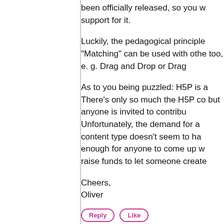been officially released, so you w support for it.
Luckily, the pedagogical principle "Matching" can be used with othe too, e. g. Drag and Drop or Drag
As to you being puzzled: H5P is a There's only so much the H5P co but anyone is invited to contribu Unfortunately, the demand for a content type doesn't seem to ha enough for anyone to come up w raise funds to let someone create
Cheers,
Oliver